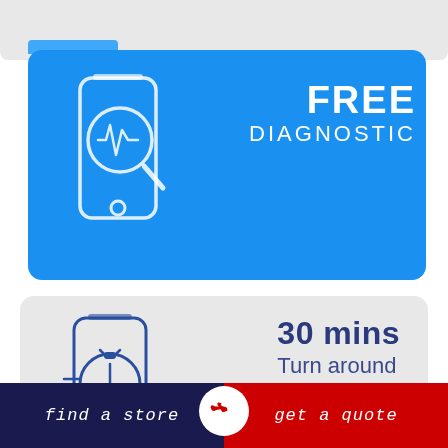[Figure (infographic): Blue card with phone/magnifier diagnostic icon and text FREE DIAGNOSTIC]
FREE DIAGNOSTIC
[Figure (infographic): Gray card with phone/stopwatch icon and text 30 mins Turn around time]
30 mins Turn around time
find a store   get a quote